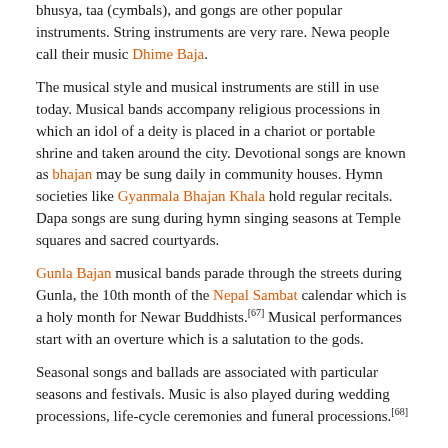bhusya, taa (cymbals), and gongs are other popular instruments. String instruments are very rare. Newa people call their music Dhime Baja.
The musical style and musical instruments are still in use today. Musical bands accompany religious processions in which an idol of a deity is placed in a chariot or portable shrine and taken around the city. Devotional songs are known as bhajan may be sung daily in community houses. Hymn societies like Gyanmala Bhajan Khala hold regular recitals. Dapa songs are sung during hymn singing seasons at Temple squares and sacred courtyards.
Gunla Bajan musical bands parade through the streets during Gunla, the 10th month of the Nepal Sambat calendar which is a holy month for Newar Buddhists.[67] Musical performances start with an overture which is a salutation to the gods.
Seasonal songs and ballads are associated with particular seasons and festivals. Music is also played during wedding processions, life-cycle ceremonies and funeral processions.[68]
Popular traditional songs[edit]
Ghātu (summer music, this seasonal melody is played during Pahan Charhe festival)